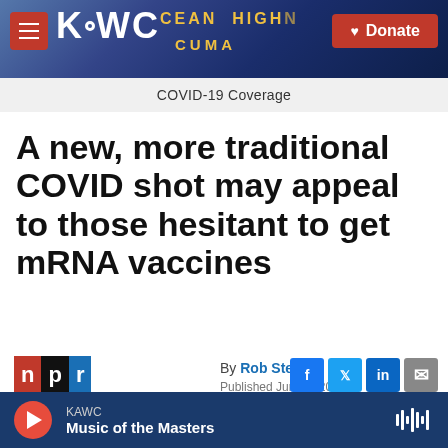KAWC — Donate
COVID-19 Coverage
A new, more traditional COVID shot may appeal to those hesitant to get mRNA vaccines
By Rob Stein
Published June 2, 2022
KAWC — Music of the Masters